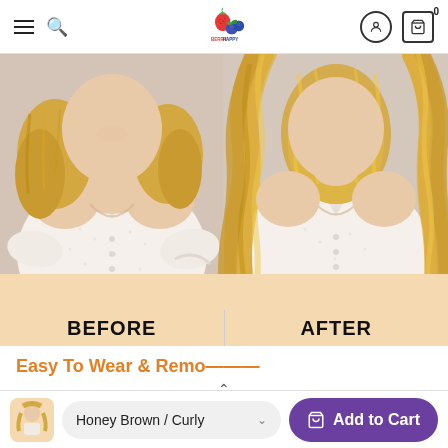Navigation header with hamburger menu, search icon, berry logo, user icon, cart icon (0)
[Figure (photo): Before and after comparison photo: left side shows woman with short blonde hair (BEFORE), right side shows same woman with long flowing wavy blonde hair extensions (AFTER). Both wearing white eyelet blouse.]
Easy To Wear & Remo...
Literally one minute fit, one second remove with the
Honey Brown / Curly  [variant selector]  Add to Cart